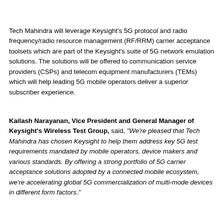Tech Mahindra will leverage Keysight's 5G protocol and radio frequency/radio resource management (RF/RRM) carrier acceptance toolsets which are part of the Keysight's suite of 5G network emulation solutions. The solutions will be offered to communication service providers (CSPs) and telecom equipment manufacturers (TEMs) which will help leading 5G mobile operators deliver a superior subscriber experience.
Kailash Narayanan, Vice President and General Manager of Keysight's Wireless Test Group, said, "We're pleased that Tech Mahindra has chosen Keysight to help them address key 5G test requirements mandated by mobile operators, device makers and various standards. By offering a strong portfolio of 5G carrier acceptance solutions adopted by a connected mobile ecosystem, we're accelerating global 5G commercialization of multi-mode devices in different form factors."